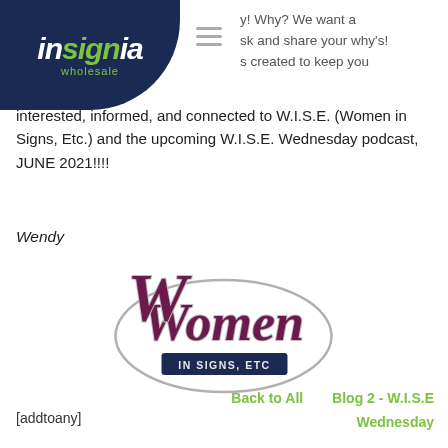[Figure (logo): Insignia Wholesale logo on dark navy blue rounded-corner background]
y! Why? We want a sk and share your why's! s created to keep you interested, informed, and connected to W.I.S.E. (Women in Signs, Etc.) and the upcoming W.I.S.E. Wednesday podcast, JUNE 2021!!!!
Wendy
[Figure (logo): Women in Signs, Etc. logo — stylized script 'Women' in purple/maroon with 'IN SIGNS, ETC' on a dark navy banner]
[addtoany]
Back to All      Blog 2 - W.I.S.E Wednesday